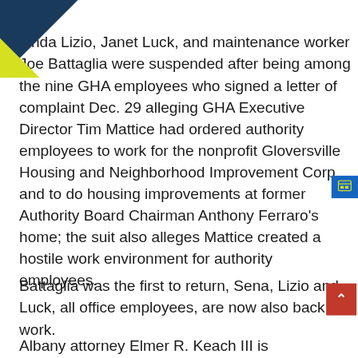[Figure (illustration): Decorative corner triangles — dark navy blue triangle in upper-left and yellow-green triangle below it forming a two-tone corner logo/mark]
Linda Lizio, Janet Luck, and maintenance worker Joe Battaglia were suspended after being among the nine GHA employees who signed a letter of complaint Dec. 29 alleging GHA Executive Director Tim Mattice had ordered authority employees to work for the nonprofit Gloversville Housing and Neighborhood Improvement Corp. and to do housing improvements at former Authority Board Chairman Anthony Ferraro's home; the suit also alleges Mattice created a hostile work environment for authority employees.
Battaglia was the first to return, Sena, Lizio and Luck, all office employees, are now also back at work.
Albany attorney Elmer R. Keach III is representing the workers in the lawsuit. He said Sena, Lizio, Luck and